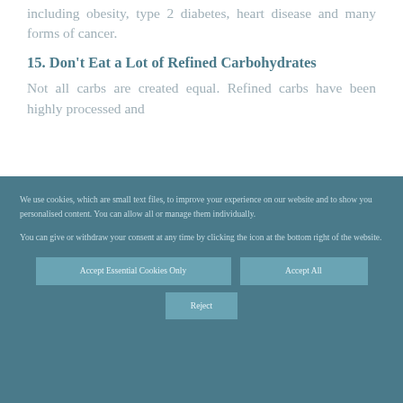including obesity, type 2 diabetes, heart disease and many forms of cancer.
15. Don't Eat a Lot of Refined Carbohydrates
Not all carbs are created equal. Refined carbs have been highly processed and
We use cookies, which are small text files, to improve your experience on our website and to show you personalised content. You can allow all or manage them individually.
You can give or withdraw your consent at any time by clicking the icon at the bottom right of the website.
Accept Essential Cookies Only
Accept All
Reject